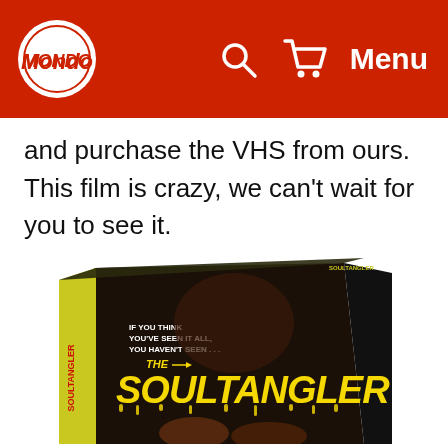Mondo — Menu
and purchase the VHS from ours. This film is crazy, we can't wait for you to see it.
[Figure (photo): VHS box for 'The Soultangler' horror film. Dark box with yellow dripping text reading 'The Soultangler'. Text above reads 'IF YOU THINK YOU'VE SEEN IT ALL, YOU HAVEN'T SEEN...' The box has a red spine and shows horror imagery of hands.]